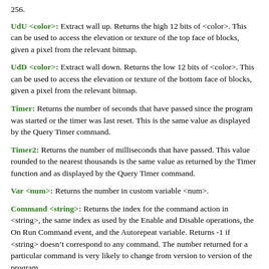256.
UdU <color>: Extract wall up. Returns the high 12 bits of <color>. This can be used to access the elevation or texture of the top face of blocks, given a pixel from the relevant bitmap.
UdD <color>: Extract wall down. Returns the low 12 bits of <color>. This can be used to access the elevation or texture of the bottom face of blocks, given a pixel from the relevant bitmap.
Timer: Returns the number of seconds that have passed since the program was started or the timer was last reset. This is the same value as displayed by the Query Timer command.
Timer2: Returns the number of milliseconds that have passed. This value rounded to the nearest thousands is the same value as returned by the Timer function and as displayed by the Query Timer command.
Var <num>: Returns the number in custom variable <num>.
Command <string>: Returns the index for the command action in <string>, the same index as used by the Enable and Disable operations, the On Run Command event, and the Autorepeat variable. Returns -1 if <string> doesn't correspond to any command. The number returned for a particular command is very likely to change from version to version of the program.